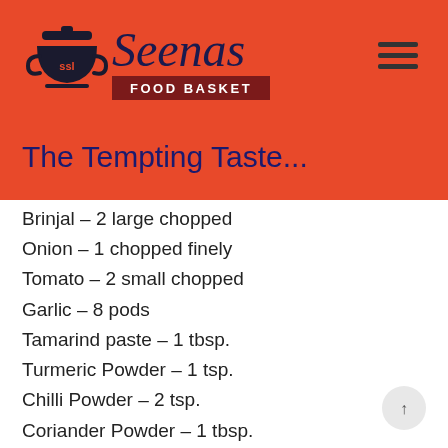[Figure (logo): Seenas Food Basket logo with pot/bowl icon and script text on red background]
The Tempting Taste...
Brinjal – 2 large chopped
Onion – 1 chopped finely
Tomato – 2 small chopped
Garlic – 8 pods
Tamarind paste – 1 tbsp.
Turmeric Powder – 1 tsp.
Chilli Powder – 2 tsp.
Coriander Powder – 1 tbsp.